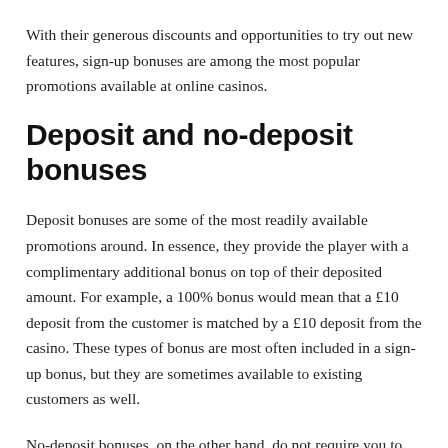With their generous discounts and opportunities to try out new features, sign-up bonuses are among the most popular promotions available at online casinos.
Deposit and no-deposit bonuses
Deposit bonuses are some of the most readily available promotions around. In essence, they provide the player with a complimentary additional bonus on top of their deposited amount. For example, a 100% bonus would mean that a £10 deposit from the customer is matched by a £10 deposit from the casino. These types of bonus are most often included in a sign-up bonus, but they are sometimes available to existing customers as well.
No-deposit bonuses, on the other hand, do not require you to